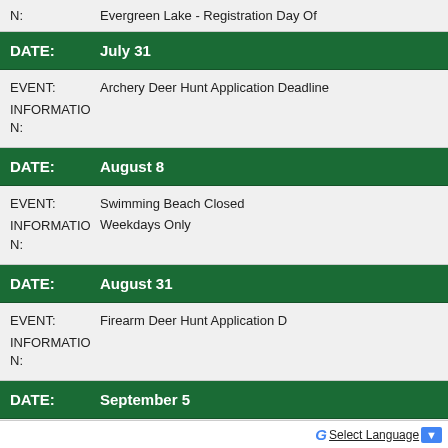N: Evergreen Lake - Registration Day Of
| Field | Value |
| --- | --- |
| DATE: | July 31 |
| EVENT: | Archery Deer Hunt Application Deadline |
| INFORMATION: |  |
| DATE: | August 8 |
| EVENT: | Swimming Beach Closed |
| INFORMATION: | Weekdays Only |
| DATE: | August 31 |
| EVENT: | Firearm Deer Hunt Application Deadline |
| INFORMATION: |  |
| DATE: | September 5 |
| EVENT: | Last Day Swimming Beach Open |
[Figure (screenshot): Browser popup overlay with close button (x), 'Questions?' text box, and a green tent/camping icon box. At the bottom is a Google Translate bar with 'Select Language' link and dropdown arrow.]